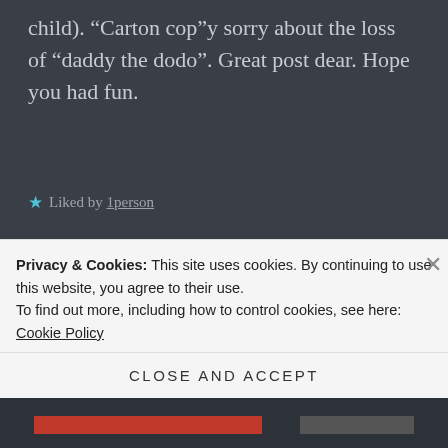child). “Carton cop”y sorry about the loss of “daddy the dodo”. Great post dear. Hope you had fun.
★ Liked by 1person
LILIANOGBUEFI says: ↩ Reply
August 10, 2016 at 12:32 pm
Lmao ebuka, I know “fela” is the one that would make you laugh
Privacy & Cookies: This site uses cookies. By continuing to use this website, you agree to their use.
To find out more, including how to control cookies, see here: Cookie Policy
Close and accept